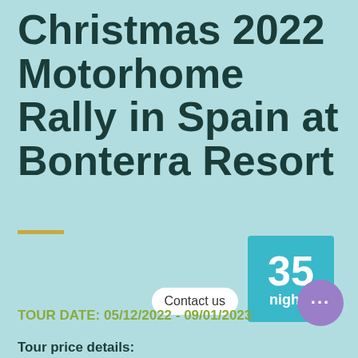Christmas 2022 Motorhome Rally in Spain at Bonterra Resort
[Figure (infographic): Teal square badge showing '35 nights' in white bold text]
Contact us
TOUR DATE: 05/12/2022 - 09/01/2023
Tour price details: